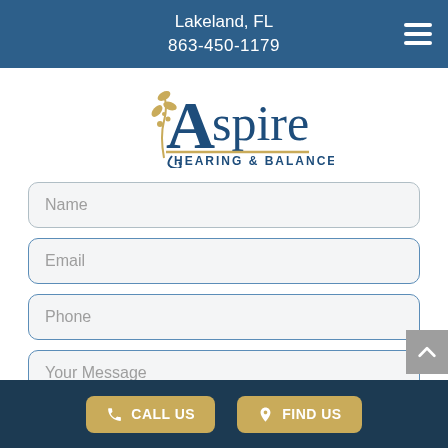Lakeland, FL
863-450-1179
[Figure (logo): Aspire Hearing & Balance logo with decorative plant and swirl mark in navy and gold]
Name
Email
Phone
Your Message
CALL US   FIND US